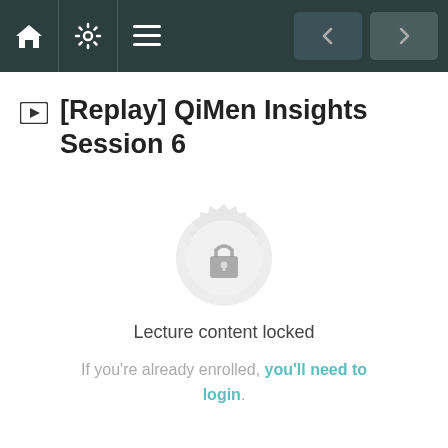Navigation bar with home, settings, menu icons and back/forward buttons
[Replay] QiMen Insights Session 6
[Figure (illustration): Locked content badge: a circular mandala/gear-like grey badge with a padlock icon in the center]
Lecture content locked
If you're already enrolled, you'll need to login.